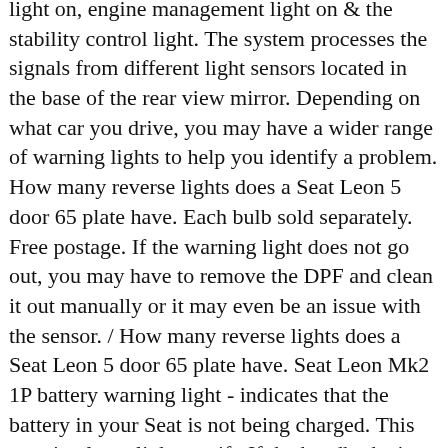light on, engine management light on & the stability control light. The system processes the signals from different light sensors located in the base of the rear view mirror. Depending on what car you drive, you may have a wider range of warning lights to help you identify a problem. How many reverse lights does a Seat Leon 5 door 65 plate have. Each bulb sold separately. Free postage. If the warning light does not go out, you may have to remove the DPF and clean it out manually or it may even be an issue with the sensor. / How many reverse lights does a Seat Leon 5 door 65 plate have. Seat Leon Mk2 1P battery warning light - indicates that the battery in your Seat is not being charged. This warning lamp lights up if · If the handbrake is on If you drive faster than 6 km/h with the handbrake on, the following message will appear in the combi-instrument